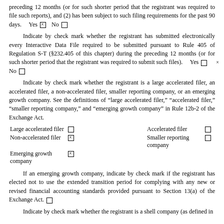preceding 12 months (or for such shorter period that the registrant was required to file such reports), and (2) has been subject to such filing requirements for the past 90 days.    Yes ☒   No ☐
Indicate by check mark whether the registrant has submitted electronically every Interactive Data File required to be submitted pursuant to Rule 405 of Regulation S-T (§232.405 of this chapter) during the preceding 12 months (or for such shorter period that the registrant was required to submit such files).    Yes ☒ No ☐
Indicate by check mark whether the registrant is a large accelerated filer, an accelerated filer, a non-accelerated filer, smaller reporting company, or an emerging growth company. See the definitions of "large accelerated filer," "accelerated filer," "smaller reporting company," and "emerging growth company" in Rule 12b-2 of the Exchange Act.
| Large accelerated filer | ☐ |  | Accelerated filer | ☐ |
| Non-accelerated filer | ☒ |  | Smaller reporting company | ☐ |
| Emerging growth company | ☒ |  |  |  |
If an emerging growth company, indicate by check mark if the registrant has elected not to use the extended transition period for complying with any new or revised financial accounting standards provided pursuant to Section 13(a) of the Exchange Act. ☐
Indicate by check mark whether the registrant is a shell company (as defined in